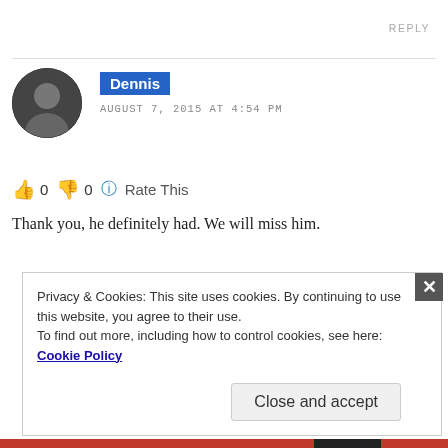REPLY
Dennis
AUGUST 7, 2015 AT 4:54 PM
👍 0 👎 0 🔵 Rate This
Thank you, he definitely had. We will miss him.
Privacy & Cookies: This site uses cookies. By continuing to use this website, you agree to their use.
To find out more, including how to control cookies, see here: Cookie Policy
Close and accept